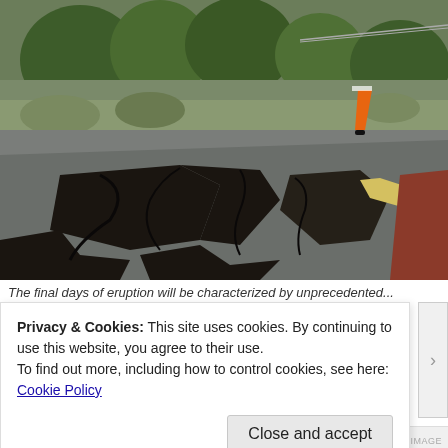[Figure (photo): Photograph of cracked and collapsed road pavement with large fissures and sinkholes. An orange traffic cone is visible on the right side of the road. Green trees and shrubs are in the background. The road surface is severely damaged with dark ground exposed beneath the asphalt.]
The final days of eruption will be characterized by unprecedented...
Privacy & Cookies: This site uses cookies. By continuing to use this website, you agree to their use.
To find out more, including how to control cookies, see here:
Cookie Policy
Close and accept